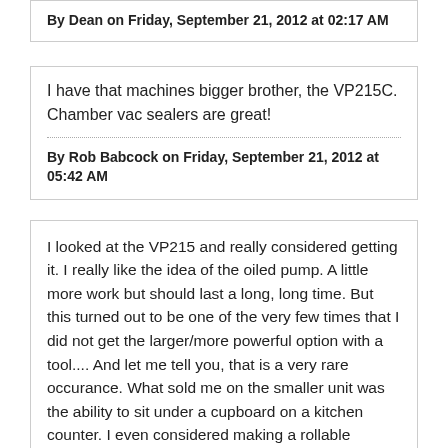By Dean on Friday, September 21, 2012 at 02:17 AM
I have that machines bigger brother, the VP215C. Chamber vac sealers are great!
By Rob Babcock on Friday, September 21, 2012 at 05:42 AM
I looked at the VP215 and really considered getting it. I really like the idea of the oiled pump. A little more work but should last a long, long time. But this turned out to be one of the very few times that I did not get the larger/more powerful option with a tool.... And let me tell you, that is a very rare occurance. What sold me on the smaller unit was the ability to sit under a cupboard on a kitchen counter. I even considered making a rollable platform to set the VP215 on so I could pull it out when I wanted to use it.... But I took the easy way